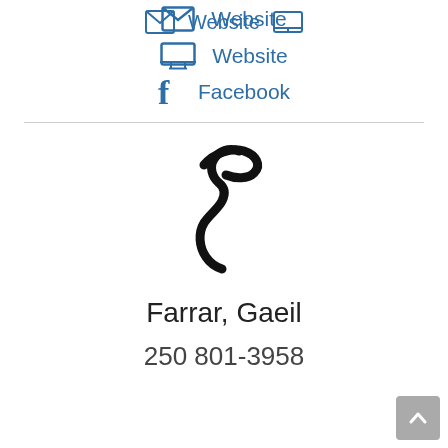Website
Facebook
[Figure (logo): Stylized letter F logo mark in black, resembling a decorative calligraphic character]
Farrar, Gaeil
250 801-3958